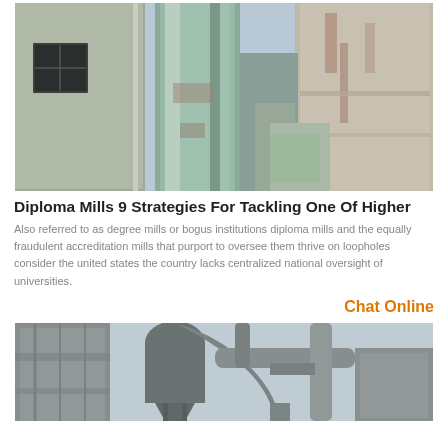[Figure (photo): Industrial facility with large pipes and silos/columns, viewed from below at an angle. Shows concrete structures, metal cylindrical ducts, and blue sky in background.]
Diploma Mills 9 Strategies For Tackling One Of Higher
Also referred to as degree mills or bogus institutions diploma mills and the equally fraudulent accreditation mills that purport to oversee them thrive on loopholes consider the united states the country lacks centralized national oversight of universities.
Chat Online
[Figure (photo): Industrial facility exterior showing large pipe systems, cyclone separators, and industrial equipment against a light grey/blue sky. Grey building structures visible on left.]